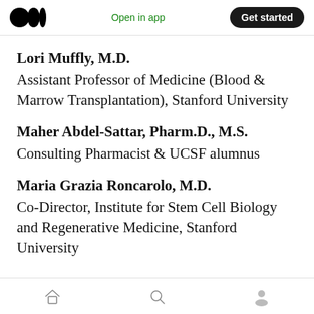Open in app  Get started
Lori Muffly, M.D.
Assistant Professor of Medicine (Blood & Marrow Transplantation), Stanford University
Maher Abdel-Sattar, Pharm.D., M.S.
Consulting Pharmacist & UCSF alumnus
Maria Grazia Roncarolo, M.D.
Co-Director, Institute for Stem Cell Biology and Regenerative Medicine, Stanford University
Home  Search  Profile